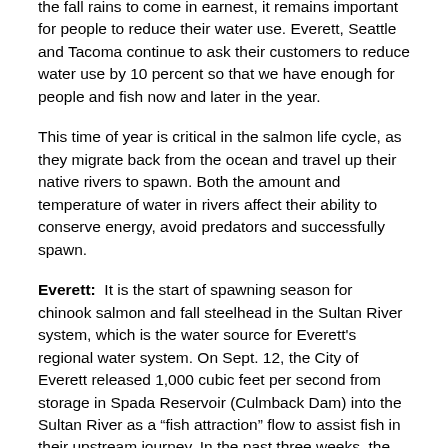the fall rains to come in earnest, it remains important for people to reduce their water use. Everett, Seattle and Tacoma continue to ask their customers to reduce water use by 10 percent so that we have enough for people and fish now and later in the year.
This time of year is critical in the salmon life cycle, as they migrate back from the ocean and travel up their native rivers to spawn. Both the amount and temperature of water in rivers affect their ability to conserve energy, avoid predators and successfully spawn.
Everett: It is the start of spawning season for chinook salmon and fall steelhead in the Sultan River system, which is the water source for Everett's regional water system. On Sept. 12, the City of Everett released 1,000 cubic feet per second from storage in Spada Reservoir (Culmback Dam) into the Sultan River as a "fish attraction" flow to assist fish in their upstream journey. In the past three weeks, the Sultan River watershed received 10 inches of rain, which raised the water level in the reservoir by seven feet, but the fish attraction flow release  brought the water level back